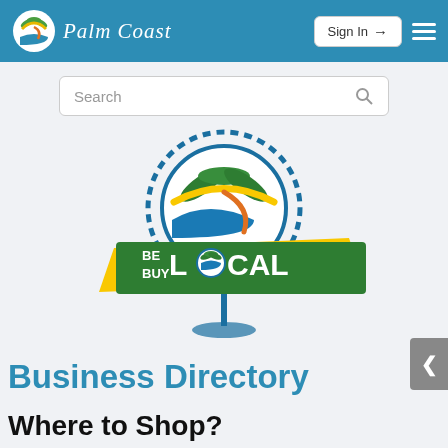Palm Coast
[Figure (logo): Palm Coast city logo with palm tree emblem and text 'Palm Coast' in italic serif font]
Sign In →
[Figure (other): Search bar with placeholder text 'Search' and magnifying glass icon]
[Figure (logo): Be Buy Local Business Directory logo - circular pin with Palm Coast emblem, green banner with BE BUY LOCAL text, and 'Business Directory' text below in blue]
Business Directory
Where to Shop?